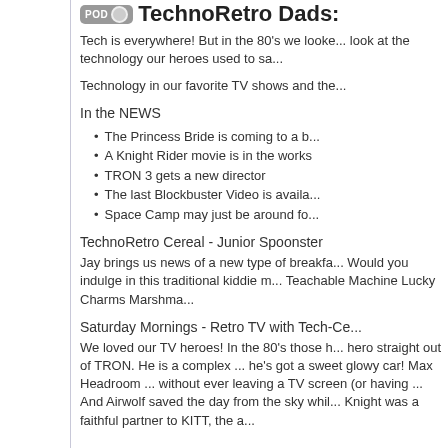TechnoRetro Dads:
Tech is everywhere! But in the 80's we looked at the technology our heroes used to sa...
Technology in our favorite TV shows and the...
In the NEWS
The Princess Bride is coming to a b...
A Knight Rider movie is in the works
TRON 3 gets a new director
The last Blockbuster Video is availa...
Space Camp may just be around fo...
TechnoRetro Cereal - Junior Spoonster
Jay brings us news of a new type of breakfa... Would you indulge in this traditional kiddie m... Teachable Machine Lucky Charms Marshma...
Saturday Mornings - Retro TV with Tech-Ce...
We loved our TV heroes! In the 80's those h... hero straight out of TRON. He is a complex ... he's got a sweet glowy car! Max Headroom ... without ever leaving a TV screen (or having ... And Airwolf saved the day from the sky whil... Knight was a faithful partner to KITT, the a...